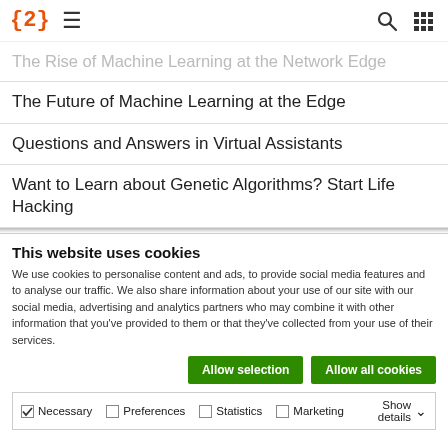{2} ≡ 🔍 ⠿
The Rise of Machine Learning at the Network Edge
The Future of Machine Learning at the Edge
Questions and Answers in Virtual Assistants
Want to Learn about Genetic Algorithms? Start Life Hacking
This website uses cookies
We use cookies to personalise content and ads, to provide social media features and to analyse our traffic. We also share information about your use of our site with our social media, advertising and analytics partners who may combine it with other information that you've provided to them or that they've collected from your use of their services.
Allow selection | Allow all cookies
Necessary | Preferences | Statistics | Marketing | Show details